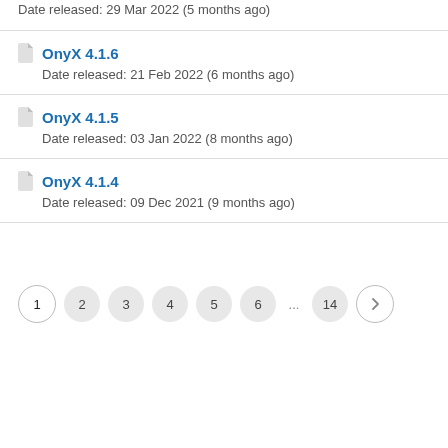Date released: 29 Mar 2022 (5 months ago)
OnyX 4.1.6
Date released: 21 Feb 2022 (6 months ago)
OnyX 4.1.5
Date released: 03 Jan 2022 (8 months ago)
OnyX 4.1.4
Date released: 09 Dec 2021 (9 months ago)
1 2 3 4 5 6 ... 14 →